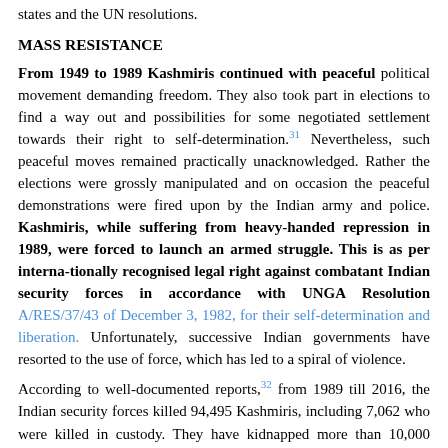states and the UN resolutions.
MASS RESISTANCE
From 1949 to 1989 Kashmiris continued with peaceful political movement demanding freedom. They also took part in elections to find a way out and possibilities for some negotiated settlement towards their right to self-determination.31 Nevertheless, such peaceful moves remained practically unacknowledged. Rather the elections were grossly manipulated and on occasion the peaceful demonstrations were fired upon by the Indian army and police. Kashmiris, while suffering from heavy-handed repression in 1989, were forced to launch an armed struggle. This is as per interna-tionally recognised legal right against combatant Indian security forces in accordance with UNGA Resolution A/RES/37/43 of December 3, 1982, for their self-determination and liberation. Unfortunately, successive Indian governments have resorted to the use of force, which has led to a spiral of violence.
According to well-documented reports,32 from 1989 till 2016, the Indian security forces killed 94,495 Kashmiris, including 7,062 who were killed in custody. They have kidnapped more than 10,000 people, mostly young men, while 136,436 civilians have been arrested. The documented number of widows has reached 22,884, while